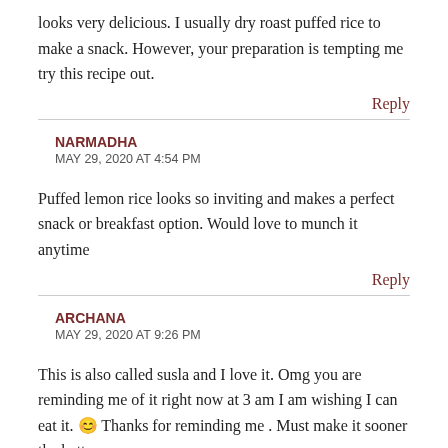looks very delicious. I usually dry roast puffed rice to make a snack. However, your preparation is tempting me try this recipe out.
Reply
NARMADHA
MAY 29, 2020 AT 4:54 PM
Puffed lemon rice looks so inviting and makes a perfect snack or breakfast option. Would love to munch it anytime
Reply
ARCHANA
MAY 29, 2020 AT 9:26 PM
This is also called susla and I love it. Omg you are reminding me of it right now at 3 am I am wishing I can eat it. 😊 Thanks for reminding me . Must make it sooner the better.